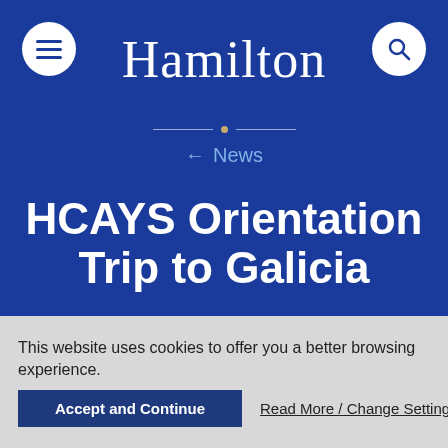Hamilton
← News
HCAYS Orientation Trip to Galicia
by Cassidy Dennison '16
September 10, 2014
Global Education
This website uses cookies to offer you a better browsing experience.
Accept and Continue
Read More / Change Settings